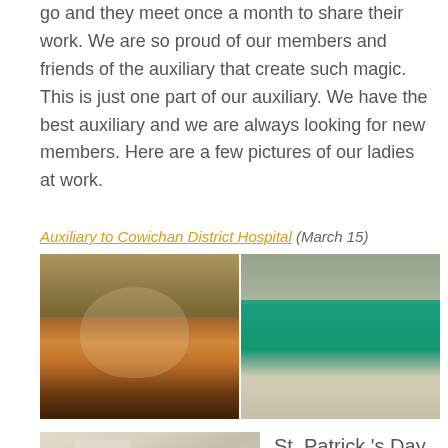go and they meet once a month to share their work. We are so proud of our members and friends of the auxiliary that create such magic. This is just one part of our auxiliary. We have the best auxiliary and we are always looking for new members. Here are a few pictures of our ladies at work.
Auxiliary to Cowichan District Hospital (March 15)
[Figure (photo): Two side-by-side photos: left shows a woman smiling and holding up a colorful knitted or crocheted blanket in orange, red, and brown stripes; right shows hands holding a teal/turquoise knitted item at a table with other people in the background.]
[Figure (photo): Photo of an indoor room, partially visible, showing ceiling lights and some interior furnishings.]
St. Patrick 's Day is this Sunday! St...